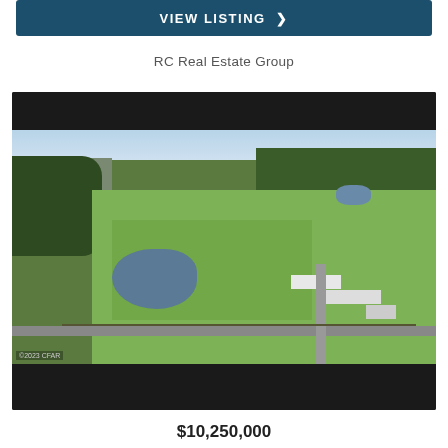VIEW LISTING >
RC Real Estate Group
[Figure (photo): Aerial drone photograph of a large rural property with green fields, a pond, white agricultural buildings, fenced perimeter, and a road at the bottom. A residential/urban area is visible in the upper left, and forest in the upper right.]
$10,250,000